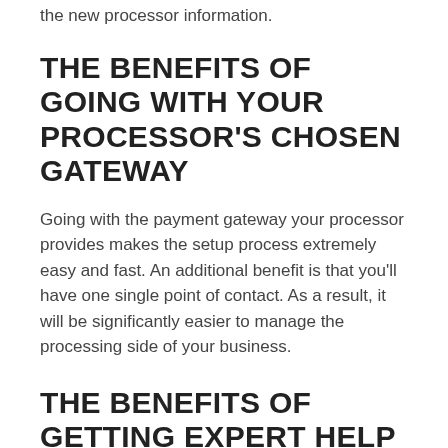the new processor information.
THE BENEFITS OF GOING WITH YOUR PROCESSOR'S CHOSEN GATEWAY
Going with the payment gateway your processor provides makes the setup process extremely easy and fast. An additional benefit is that you'll have one single point of contact. As a result, it will be significantly easier to manage the processing side of your business.
THE BENEFITS OF GETTING EXPERT HELP FINDING A GATEWAY